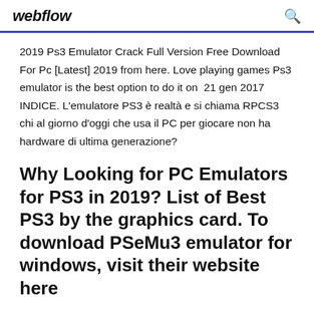webflow
2019 Ps3 Emulator Crack Full Version Free Download For Pc [Latest] 2019 from here. Love playing games Ps3 emulator is the best option to do it on  21 gen 2017 INDICE. L'emulatore PS3 è realtà e si chiama RPCS3 chi al giorno d'oggi che usa il PC per giocare non ha hardware di ultima generazione?
Why Looking for PC Emulators for PS3 in 2019? List of Best PS3 by the graphics card. To download PSeMu3 emulator for windows, visit their website here